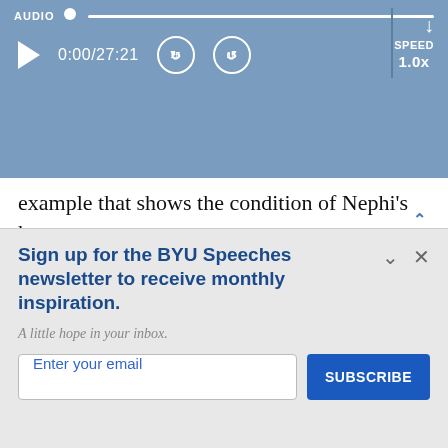[Figure (screenshot): Audio player bar with progress track, play button, time display 0:00/27:21, rewind/forward 15s buttons, speed 1.0x, download icon, and vertical divider]
example that shows the condition of Nephi's heart:
The Lord commanded Nephi to go and build a b
Nephi's older brothers believed it would not flo
Sign up for the BYU Speeches newsletter to receive monthly inspiration.
A little hope in your inbox.
Enter your email
SUBSCRIBE